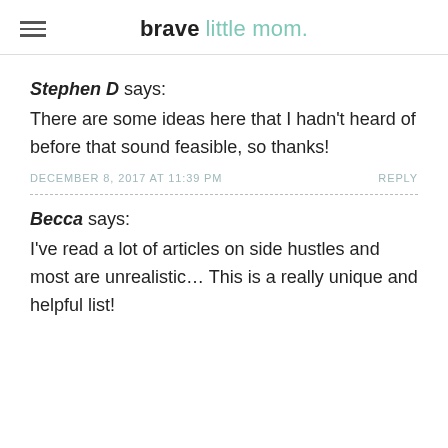brave little mom.
Stephen D says:
There are some ideas here that I hadn't heard of before that sound feasible, so thanks!
DECEMBER 8, 2017 AT 11:39 PM    REPLY
Becca says:
I've read a lot of articles on side hustles and most are unrealistic… This is a really unique and helpful list!